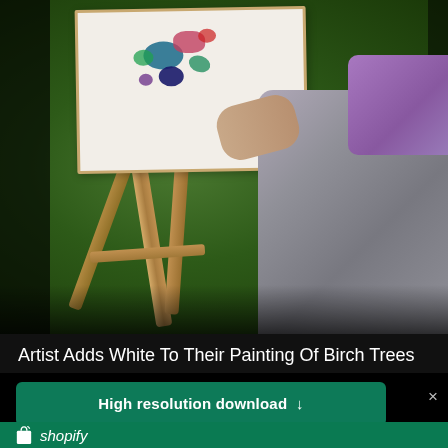[Figure (photo): A person painting on a canvas mounted on a wooden easel outdoors, with green foliage visible in the background. The canvas shows colorful paint blobs. The painter is wearing a purple/lavender sleeve and grey clothing.]
Artist Adds White To Their Painting Of Birch Trees
High resolution download ↓
[Figure (logo): Shopify logo with bag icon and 'shopify' text in white on green background, followed by advertisement text]
Need an online store for your business?
Start free trial